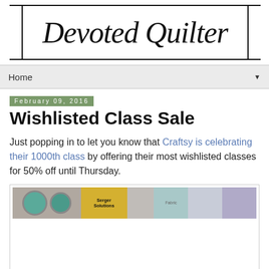Devoted Quilter
Home
February 09, 2016
Wishlisted Class Sale
Just popping in to let you know that Craftsy is celebrating their 1000th class by offering their most wishlisted classes for 50% off until Thursday.
[Figure (photo): Banner image showing various crafting/quilting class thumbnails including jewelry, Serger Solutions text, fabric patterns, and other craft imagery]